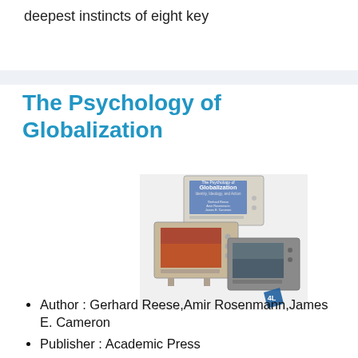deepest instincts of eight key
The Psychology of Globalization
[Figure (photo): Book cover of 'The Psychology of Globalization: Identity, Ideology, and Action' showing stacked vintage televisions]
Author : Gerhard Reese,Amir Rosenmann,James E. Cameron
Publisher : Academic Press